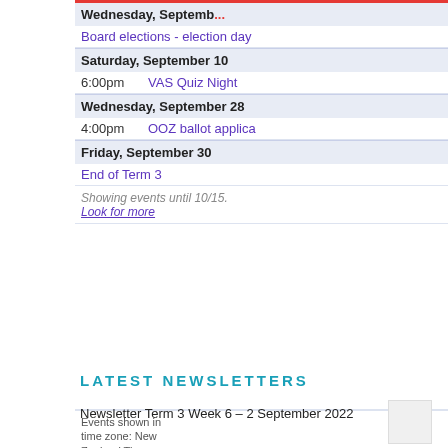| Wednesday, September 7 (partial/truncated) |  |
| Board elections - election day |  |
| Saturday, September 10 |  |
| 6:00pm | VAS Quiz Night |
| Wednesday, September 28 |  |
| 4:00pm | OOZ ballot applica |
| Friday, September 30 |  |
| End of Term 3 |  |
| Showing events until 10/15. Look for more |  |
Events shown in time zone: New Zealand Time
LATEST NEWSLETTERS
Newsletter Term 3 Week 6 – 2 September 2022